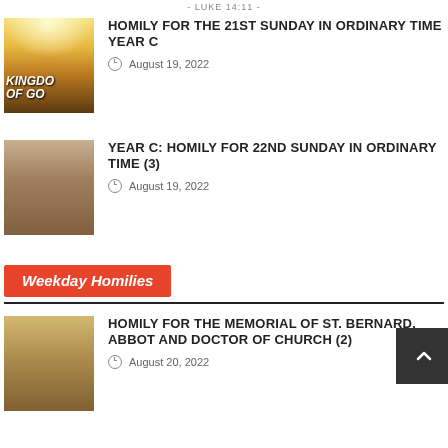- LUKE 14:11 -
[Figure (photo): Kingdom of God image with golden glowing city and text]
HOMILY FOR THE 21ST SUNDAY IN ORDINARY TIME YEAR C
August 19, 2022
[Figure (photo): Jesus with child illustration]
YEAR C: HOMILY FOR 22ND SUNDAY IN ORDINARY TIME (3)
August 19, 2022
Weekday Homilies
[Figure (photo): Jesus preaching to crowd in field]
HOMILY FOR THE MEMORIAL OF ST. BERNARD, ABBOT AND DOCTOR OF CHURCH (2)
August 20, 2022